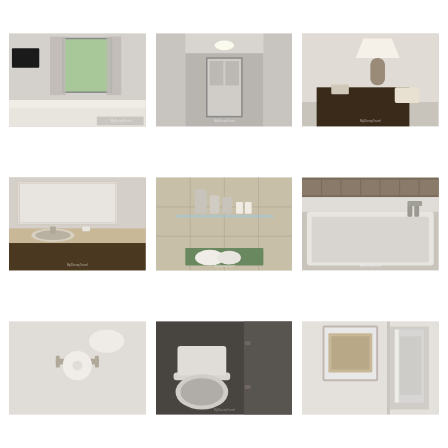[Figure (photo): Hotel room with white curtains, window with green view outside, bed with white linens, TV mounted on wall]
[Figure (photo): Hotel hallway/entryway with white walls, door, overhead lighting]
[Figure (photo): Hotel room nightstand with lamp, telephone, and small items]
[Figure (photo): Hotel bathroom vanity with marble countertop, sink, mirror with lighting]
[Figure (photo): Hotel bathroom shelf with toiletries, towels, marble tile background]
[Figure (photo): Hotel bathroom with large soaking tub, marble tile border]
[Figure (photo): Hotel bathroom wall with toilet paper holder]
[Figure (photo): Hotel bathroom toilet]
[Figure (photo): Hotel bathroom mirror and wall]